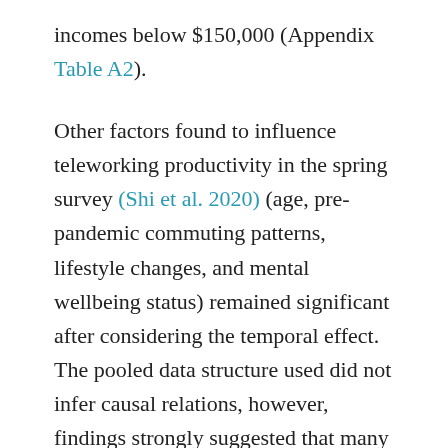incomes below $150,000 (Appendix Table A2).
Other factors found to influence teleworking productivity in the spring survey (Shi et al. 2020) (age, pre-pandemic commuting patterns, lifestyle changes, and mental wellbeing status) remained significant after considering the temporal effect. The pooled data structure used did not infer causal relations, however, findings strongly suggested that many higher income workers could continue to WFH past the pandemic while remaining productive, and could potentially reduce the number of future commute trips. Future efforts should be made